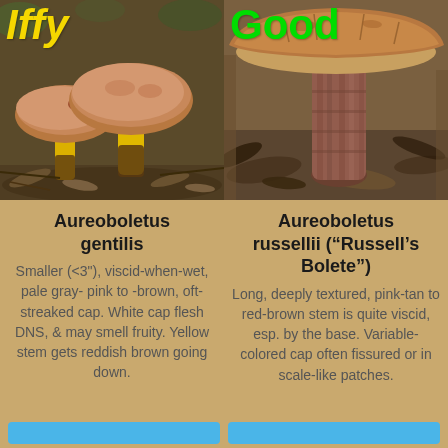[Figure (photo): Photo of Aureoboletus gentilis mushrooms with yellow stems and brownish caps on forest floor, labeled 'Iffy' in yellow italic text]
[Figure (photo): Photo of Aureoboletus russellii mushroom with deeply textured red-brown stem and brownish cap, labeled 'Good' in green text]
Aureoboletus gentilis
Smaller (<3"), viscid-when-wet, pale gray- pink to -brown, oft-streaked cap. White cap flesh DNS, & may smell fruity. Yellow stem gets reddish brown going down.
Aureoboletus russellii (“Russell’s Bolete”)
Long, deeply textured, pink-tan to red-brown stem is quite viscid, esp. by the base. Variable-colored cap often fissured or in scale-like patches.